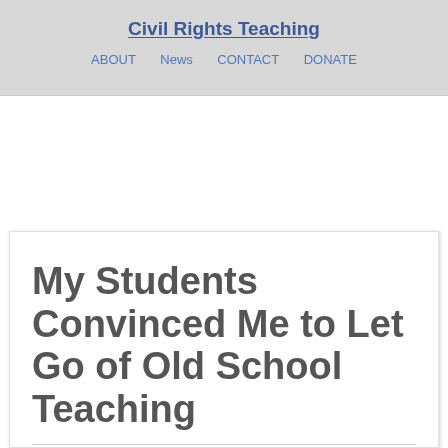Civil Rights Teaching
ABOUT   News   CONTACT   DONATE
My Students Convinced Me to Let Go of Old School Teaching
By Susan Nail